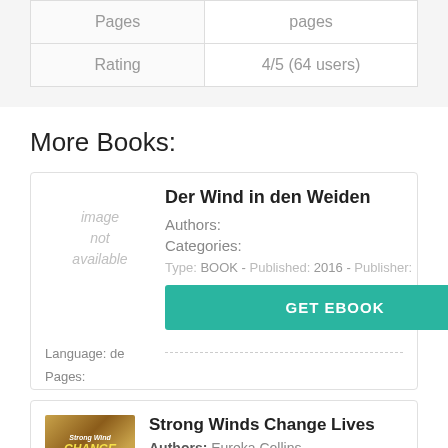| Pages | pages |
| --- | --- |
| Rating | 4/5 (64 users) |
More Books:
Der Wind in den Weiden
Authors:
Categories:
Type: BOOK - Published: 2016 - Publisher:
Language: de
Pages:
Strong Winds Change Lives
Authors: Eureka Collins